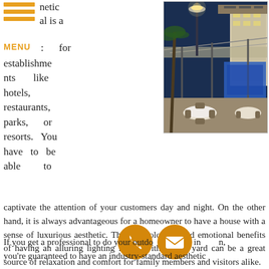netic al is a MENU : for establishments like hotels, restaurants, parks, or resorts. You have to be able to captivate the attention of your customers day and night.
[Figure (photo): Outdoor restaurant patio at night with round tables set with white tablecloths, wicker chairs, overhead lighting, palm trees and a brightly lit interior visible in the background.]
captivate the attention of your customers day and night. On the other hand, it is always advantageous for a homeowner to have a house with a sense of luxurious aesthetic. The psychological and emotional benefits of having an alluring lighting layout within your yard can be a great source of relaxation and comfort for family members and visitors alike.
If you get a professional to do your outdoor lighting design, you're guaranteed to have an industry-standard aesthetic